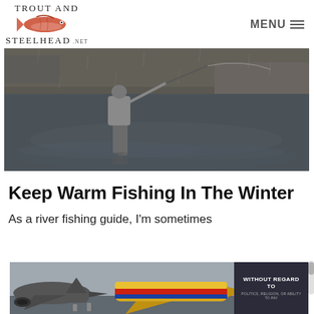TROUT AND STEELHEAD .NET — MENU
[Figure (photo): A fly fisherman wading in a river during rainy/snowy winter weather, casting a fishing rod. The river is wide and grey, with rocky banks visible in the background.]
Keep Warm Fishing In The Winter
As a river fishing guide, I'm sometimes
[Figure (photo): Advertisement banner showing cargo airplanes on a tarmac, with text 'WITHOUT REGARD TO POLITICS, RELIGION, OR ABILITY TO PAY']